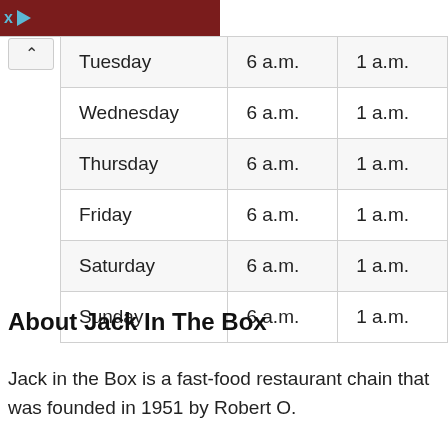[Ad banner]
| Tuesday | 6 a.m. | 1 a.m. |
| Wednesday | 6 a.m. | 1 a.m. |
| Thursday | 6 a.m. | 1 a.m. |
| Friday | 6 a.m. | 1 a.m. |
| Saturday | 6 a.m. | 1 a.m. |
| Sunday | 6 a.m. | 1 a.m. |
About Jack In The Box
Jack in the Box is a fast-food restaurant chain that was founded in 1951 by Robert O.